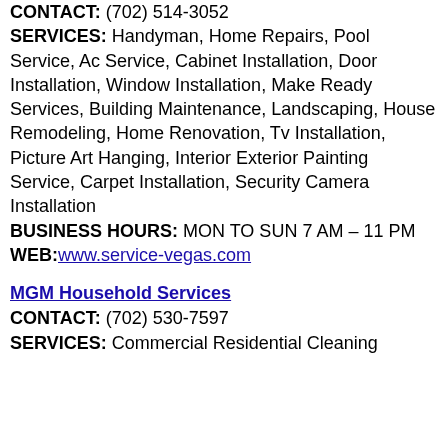CONTACT: (702) 514-3052
SERVICES: Handyman, Home Repairs, Pool Service, Ac Service, Cabinet Installation, Door Installation, Window Installation, Make Ready Services, Building Maintenance, Landscaping, House Remodeling, Home Renovation, Tv Installation, Picture Art Hanging, Interior Exterior Painting Service, Carpet Installation, Security Camera Installation
BUSINESS HOURS: MON TO SUN 7 AM – 11 PM
WEB: www.service-vegas.com
MGM Household Services
CONTACT: (702) 530-7597
SERVICES: Commercial Residential Cleaning